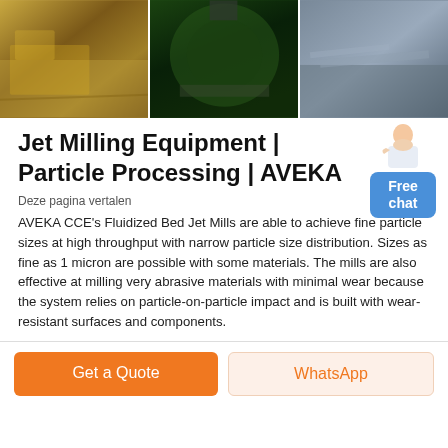[Figure (photo): Three industrial mining/milling equipment photos side by side: left shows yellow crusher/milling plant, center shows large green rotating drum mill, right shows aerial view of mining conveyor/stockpile area]
Jet Milling Equipment | Particle Processing | AVEKA
Deze pagina vertalen
AVEKA CCE's Fluidized Bed Jet Mills are able to achieve fine particle sizes at high throughput with narrow particle size distribution. Sizes as fine as 1 micron are possible with some materials. The mills are also effective at milling very abrasive materials with minimal wear because the system relies on particle-on-particle impact and is built with wear-resistant surfaces and components.
Get a Quote
WhatsApp